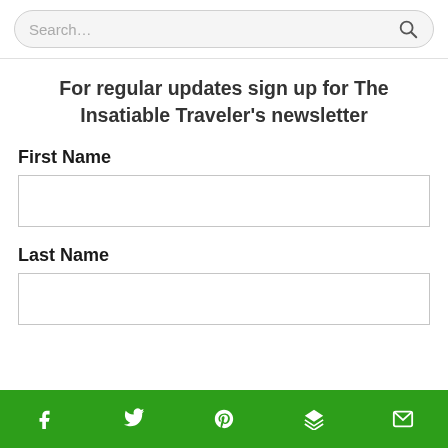[Figure (screenshot): Search bar with placeholder text 'Search...' and a magnifying glass icon on the right, rounded rectangle style on a light gray background]
For regular updates sign up for The Insatiable Traveler's newsletter
First Name
[Figure (other): Empty text input field for First Name]
Last Name
[Figure (other): Empty text input field for Last Name]
Social share bar with Facebook, Twitter, Pinterest, Buffer/layers, and Email icons on a green background